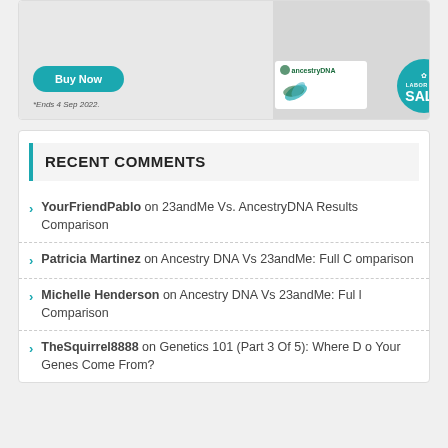[Figure (photo): AncestryDNA Labor Day Sale advertisement banner with Buy Now button, *Ends 4 Sep 2022. text, ancestry leaf logo, and teal Labor Day SALE badge.]
RECENT COMMENTS
YourFriendPablo on 23andMe Vs. AncestryDNA Results Comparison
Patricia Martinez on Ancestry DNA Vs 23andMe: Full Comparison
Michelle Henderson on Ancestry DNA Vs 23andMe: Full Comparison
TheSquirrel8888 on Genetics 101 (Part 3 Of 5): Where Do Your Genes Come From?